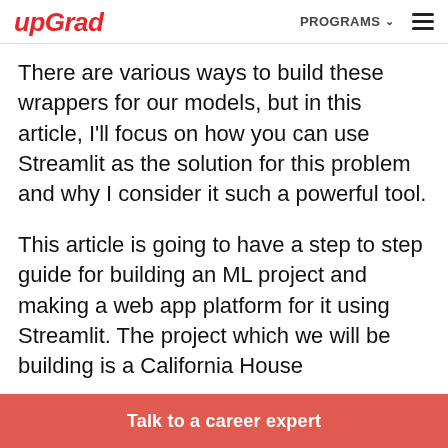upGrad | PROGRAMS ☰
There are various ways to build these wrappers for our models, but in this article, I'll focus on how you can use Streamlit as the solution for this problem and why I consider it such a powerful tool.
This article is going to have a step to step guide for building an ML project and making a web app platform for it using Streamlit. The project which we will be building is a California House
Talk to a career expert